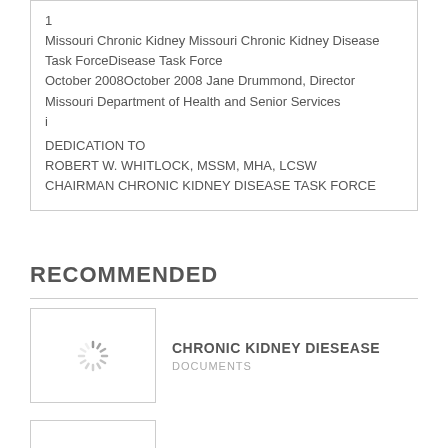1
Missouri Chronic Kidney Missouri Chronic Kidney Disease Task ForceDisease Task Force
October 2008October 2008 Jane Drummond, Director Missouri Department of Health and Senior Services
i
DEDICATION TO
ROBERT W. WHITLOCK, MSSM, MHA, LCSW
CHAIRMAN CHRONIC KIDNEY DISEASE TASK FORCE
RECOMMENDED
CHRONIC KIDNEY DIESEASE
DOCUMENTS
CHRONIC KIDNEY DISEASES
DOCUMENTS